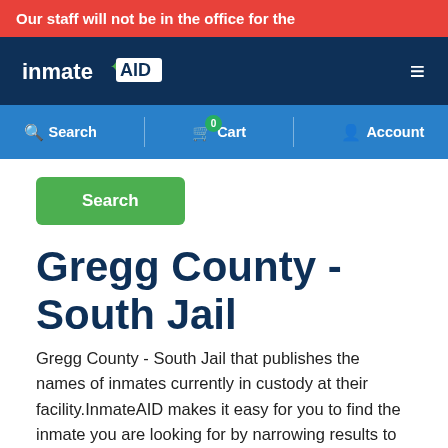Our staff will not be in the office for the
[Figure (logo): InmateAID logo — white text on dark navy background with hamburger menu icon]
Search | Cart 0 | Account
Search
Gregg County - South Jail
Gregg County - South Jail that publishes the names of inmates currently in custody at their facility.InmateAID makes it easy for you to find the inmate you are looking for by narrowing results to the facility you've selected. If this is not the correct facility,